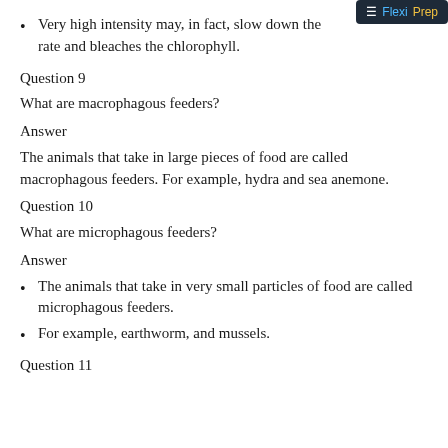Very high intensity may, in fact, slow down the rate and bleaches the chlorophyll.
Question 9
What are macrophagous feeders?
Answer
The animals that take in large pieces of food are called macrophagous feeders. For example, hydra and sea anemone.
Question 10
What are microphagous feeders?
Answer
The animals that take in very small particles of food are called microphagous feeders.
For example, earthworm, and mussels.
Question 11